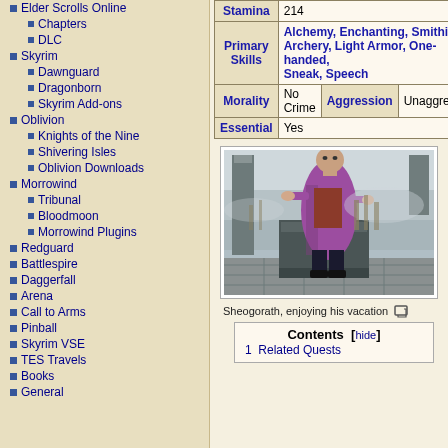Elder Scrolls Online
Chapters
DLC
Skyrim
Dawnguard
Dragonborn
Skyrim Add-ons
Oblivion
Knights of the Nine
Shivering Isles
Oblivion Downloads
Morrowind
Tribunal
Bloodmoon
Morrowind Plugins
Redguard
Battlespire
Daggerfall
Arena
Call to Arms
Pinball
Skyrim VSE
TES Travels
Books
General
| Field | Value |
| --- | --- |
| Stamina | 214 |
| Primary Skills | Alchemy, Enchanting, Smithing, Archery, Light Armor, One-handed, Sneak, Speech |
| Morality | No Crime |
| Aggression | Unaggressive |
| Essential | Yes |
[Figure (photo): Sheogorath sitting on a stone throne outdoors in a misty environment, wearing purple and red robes]
Sheogorath, enjoying his vacation
Contents [hide]
1  Related Quests